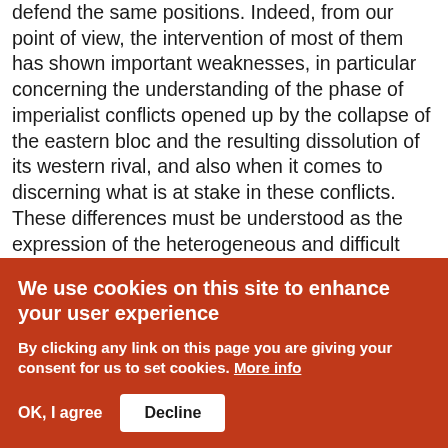defend the same positions. Indeed, from our point of view, the intervention of most of them has shown important weaknesses, in particular concerning the understanding of the phase of imperialist conflicts opened up by the collapse of the eastern bloc and the resulting dissolution of its western rival, and also when it comes to discerning what is at stake in these conflicts. These differences must be understood as the expression of the heterogeneous and difficult process through which consciousness ripens within the working class - a process which also affects the groups of the political vanguard. In
We use cookies on this site to enhance your user experience
By clicking any link on this page you are giving your consent for us to set cookies. More info
OK, I agree
Decline